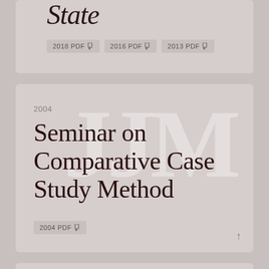State
2018 PDF
2016 PDF
2013 PDF
2004
Seminar on Comparative Case Study Method
2004 PDF